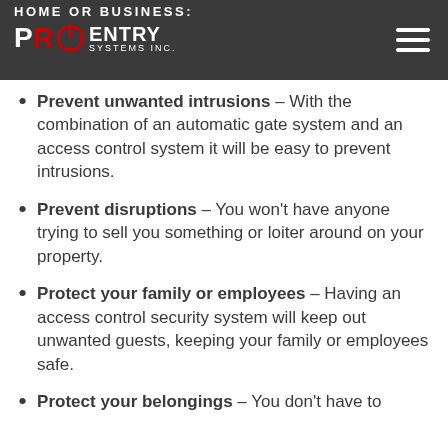HOME OR BUSINESS: PRO ENTRY SYSTEMS INC.
Prevent unwanted intrusions – With the combination of an automatic gate system and an access control system it will be easy to prevent intrusions.
Prevent disruptions – You won't have anyone trying to sell you something or loiter around on your property.
Protect your family or employees – Having an access control security system will keep out unwanted guests, keeping your family or employees safe.
Protect your belongings – You don't have to